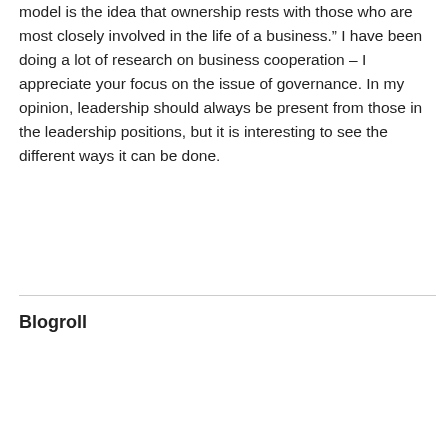model is the idea that ownership rests with those who are most closely involved in the life of a business.” I have been doing a lot of research on business cooperation – I appreciate your focus on the issue of governance. In my opinion, leadership should always be present from those in the leadership positions, but it is interesting to see the different ways it can be done.
↪ Reply
Blogroll
Andrew Bibby
Baroque in Hackney